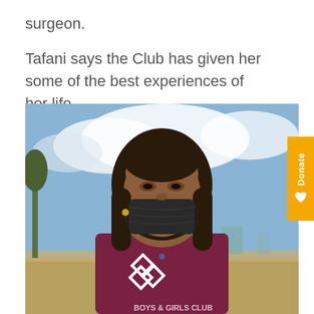surgeon.
Tafani says the Club has given her some of the best experiences of her life.
[Figure (photo): Young woman wearing a black face mask and a maroon Boys & Girls Club t-shirt, standing outdoors with a cloudy sky and trees in the background.]